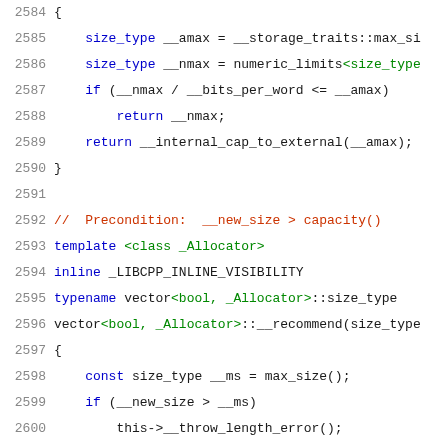Code listing lines 2584-2605: C++ source code for vector<bool> implementation
[Figure (screenshot): C++ source code snippet showing lines 2584-2605 of a libcpp vector<bool> implementation, including max_size and __recommend functions]